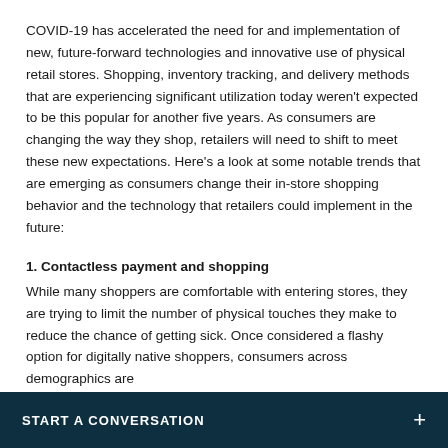COVID-19 has accelerated the need for and implementation of new, future-forward technologies and innovative use of physical retail stores. Shopping, inventory tracking, and delivery methods that are experiencing significant utilization today weren't expected to be this popular for another five years. As consumers are changing the way they shop, retailers will need to shift to meet these new expectations. Here's a look at some notable trends that are emerging as consumers change their in-store shopping behavior and the technology that retailers could implement in the future:
1. Contactless payment and shopping
While many shoppers are comfortable with entering stores, they are trying to limit the number of physical touches they make to reduce the chance of getting sick. Once considered a flashy option for digitally native shoppers, consumers across demographics are
START A CONVERSATION